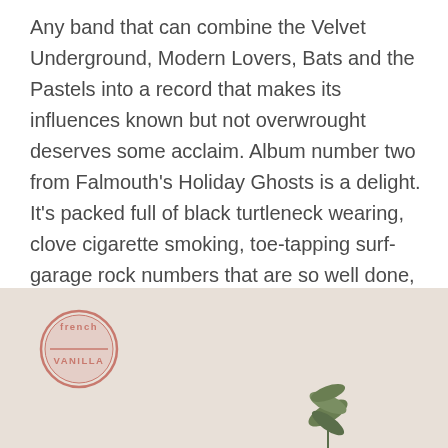Any band that can combine the Velvet Underground, Modern Lovers, Bats and the Pastels into a record that makes its influences known but not overwrought deserves some acclaim. Album number two from Falmouth's Holiday Ghosts is a delight. It's packed full of black turtleneck wearing, clove cigarette smoking, toe-tapping surf-garage rock numbers that are so well done, you'll be calling your friends and inviting them over for a hootenanny.
[Figure (photo): Photo with a pink French Vanilla logo/stamp in the bottom-left area and a plant visible in the lower right, against a light beige background.]